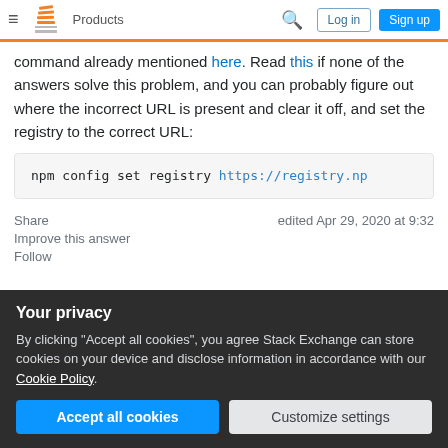≡  [Stack Overflow logo]  Products  🔍  Log in  Sign up
command already mentioned here. Read this if none of the answers solve this problem, and you can probably figure out where the incorrect URL is present and clear it off, and set the registry to the correct URL:
npm config set registry https://registry.np
Share
Improve this answer
Follow
edited Apr 29, 2020 at 9:32
Your privacy
By clicking "Accept all cookies", you agree Stack Exchange can store cookies on your device and disclose information in accordance with our Cookie Policy.
Accept all cookies   Customize settings
try npm update and then try installing it with sudo